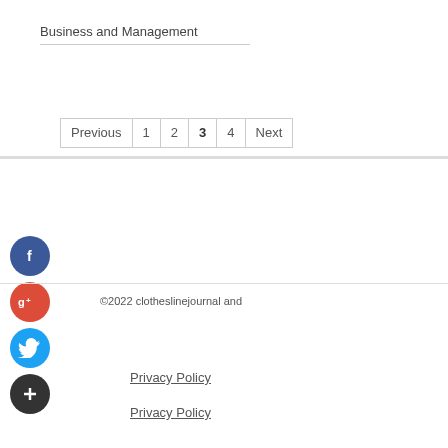Business and Management
Previous 1 2 3 4 Next
[Figure (other): Social media icons: Facebook (blue circle with f), Google+ (red circle with g+), Twitter (blue circle with bird), Plus (dark circle with +)]
©2022 clotheslinejournal and
Privacy Policy
Privacy Policy